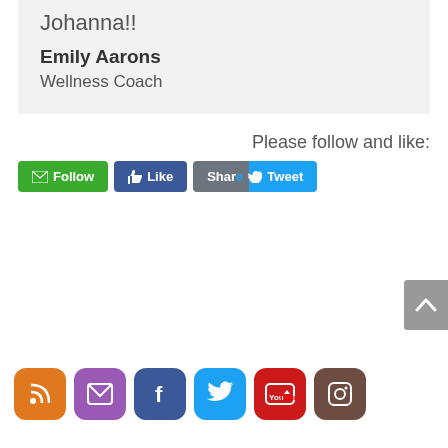Johanna!!
Emily Aarons
Wellness Coach
Please follow and like:
[Figure (other): Social sharing buttons: Follow (green), Like (blue Facebook), Share/Tweet (Twitter blue)]
[Figure (other): Social media icon row: RSS (orange), Email (purple), Facebook (blue), Twitter (cyan), YouTube (red), Instagram (brown)]